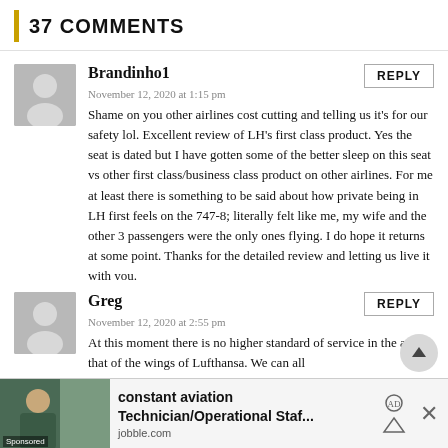37 COMMENTS
Brandinho1
November 12, 2020 at 1:15 pm
Shame on you other airlines cost cutting and telling us it's for our safety lol. Excellent review of LH's first class product. Yes the seat is dated but I have gotten some of the better sleep on this seat vs other first class/business class product on other airlines. For me at least there is something to be said about how private being in LH first feels on the 747-8; literally felt like me, my wife and the other 3 passengers were the only ones flying. I do hope it returns at some point. Thanks for the detailed review and letting us live it with you.
Greg
November 12, 2020 at 2:55 pm
At this moment there is no higher standard of service in the air, that of the wings of Lufthansa. We can all
[Figure (other): Advertisement banner: constant aviation Technician/Operational Staf... from jobble.com, with sponsored image of a person and close button]